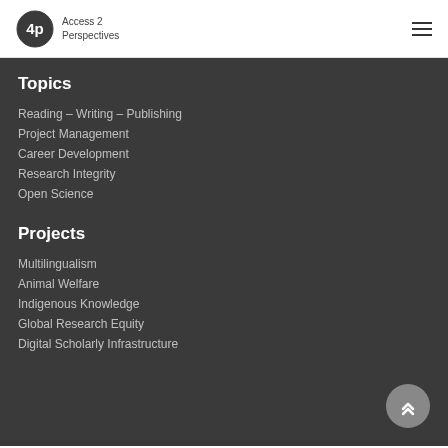Access 2 Perspectives
Topics
Reading – Writing – Publishing
Project Management
Career Development
Research Integrity
Open Science
Projects
Multilingualism
Animal Welfare
Indigenous Knowledge
Global Research Equity
Digital Scholarly Infrastructure